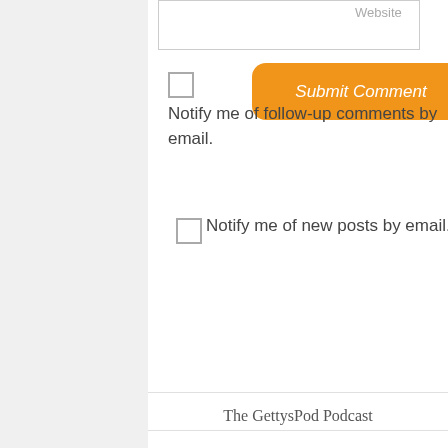[Figure (screenshot): Website input field at top of page]
[Figure (screenshot): Orange rounded Submit Comment button]
Notify me of follow-up comments by email.
Notify me of new posts by email.
The GettysPod Podcast